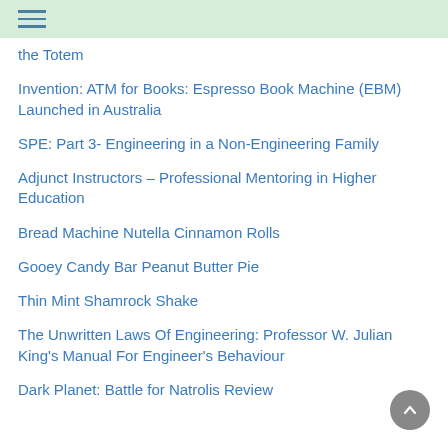the Totem
Invention: ATM for Books: Espresso Book Machine (EBM) Launched in Australia
SPE: Part 3- Engineering in a Non-Engineering Family
Adjunct Instructors – Professional Mentoring in Higher Education
Bread Machine Nutella Cinnamon Rolls
Gooey Candy Bar Peanut Butter Pie
Thin Mint Shamrock Shake
The Unwritten Laws Of Engineering: Professor W. Julian King's Manual For Engineer's Behaviour
Dark Planet: Battle for Natrolis Review